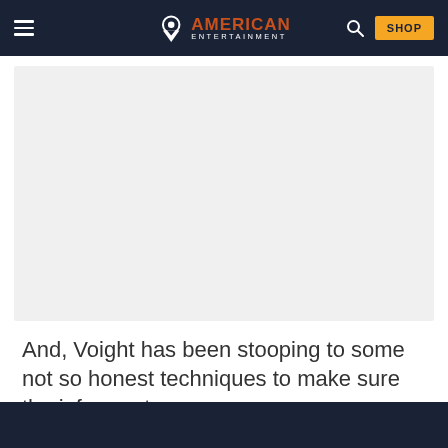American Entertainment
[Figure (photo): Large image placeholder area with light gray background, likely showing a video or article image]
And, Voight has been stooping to some not so honest techniques to make sure the informant